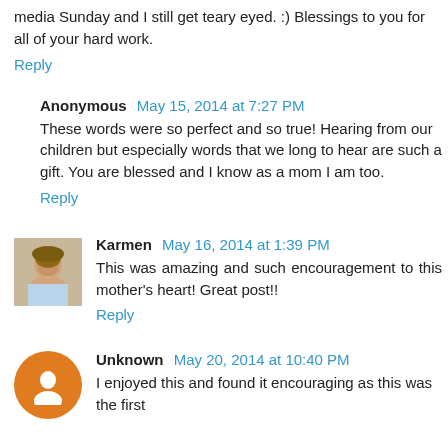media Sunday and I still get teary eyed. :) Blessings to you for all of your hard work.
Reply
Anonymous May 15, 2014 at 7:27 PM
These words were so perfect and so true! Hearing from our children but especially words that we long to hear are such a gift. You are blessed and I know as a mom I am too.
Reply
Karmen May 16, 2014 at 1:39 PM
This was amazing and such encouragement to this mother's heart! Great post!!
Reply
Unknown May 20, 2014 at 10:40 PM
I enjoyed this and found it encouraging as this was the first